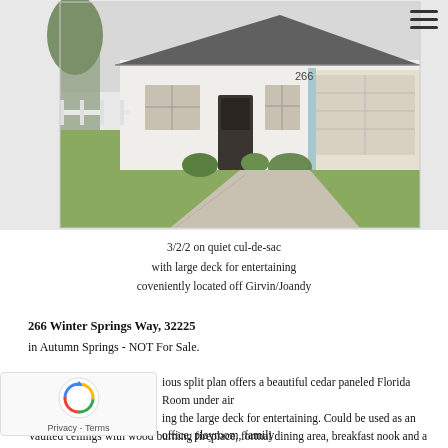[Figure (photo): Exterior photo of a single-story white house with gray roof, blue garage trim, green lawn, and concrete driveway. House number 266 visible.]
3/2/2 on quiet cul-de-sac
with large deck for entertaining
coveniently located off Girvin/Joandy
266 Winter Springs Way, 32225
in Autumn Springs - NOT For Sale.
ious split plan offers a beautiful cedar paneled Florida Room under air ing the large deck for entertaining. Could be used as an office, playroom, family ame room. Brand new roof and over sized water heater, 2018.
Vaulted ceilings with wood burning fireplace, formal dining area, breakfast nook and a